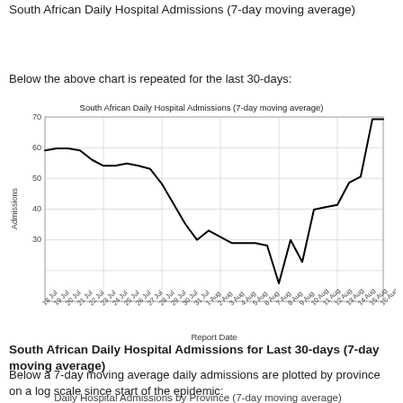South African Daily Hospital Admissions (7-day moving average)
Below the above chart is repeated for the last 30-days:
[Figure (line-chart): South African Daily Hospital Admissions (7-day moving average)]
South African Daily Hospital Admissions for Last 30-days (7-day moving average)
Below a 7-day moving average daily admissions are plotted by province on a log scale since start of the epidemic:
Daily Hospital Admissions by Province (7-day moving average)